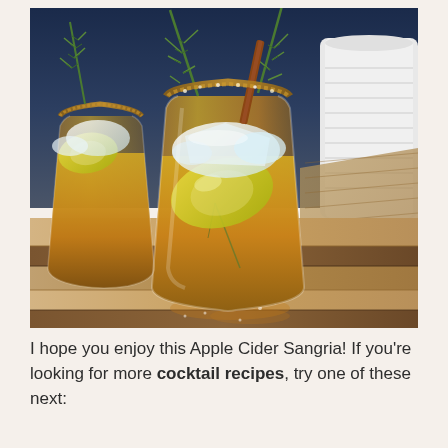[Figure (photo): Two stemless glasses filled with amber apple cider sangria on a wooden cutting board. The glasses have cinnamon-sugar rimmed edges, ice, apple slices, fresh rosemary sprigs, and cinnamon sticks as garnish. A white ceramic pitcher is visible in the background along with burlap fabric.]
I hope you enjoy this Apple Cider Sangria! If you're looking for more cocktail recipes, try one of these next: